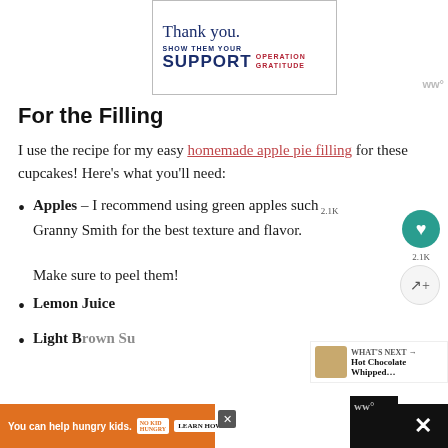[Figure (illustration): Advertisement banner showing 'Thank You, Show Them Your Support - Operation Gratitude' with pencil graphic and patriotic styling]
For the Filling
I use the recipe for my easy homemade apple pie filling for these cupcakes! Here's what you'll need:
Apples – I recommend using green apples such as Granny Smith for the best texture and flavor. Make sure to peel them!
Lemon Juice
Light Brown Sugar (partial, cut off)